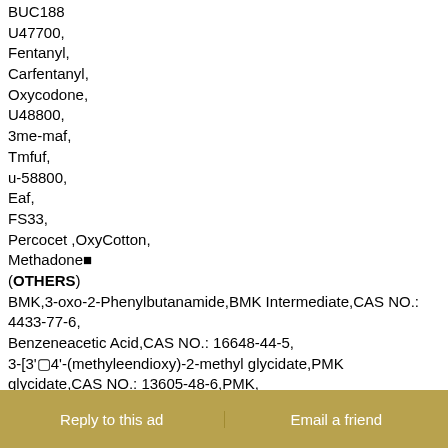BUC188
U47700,
Fentanyl,
Carfentanyl,
Oxycodone,
U48800,
3me-maf,
Tmfuf,
u-58800,
Eaf,
FS33,
Percocet ,OxyCotton,
Methadone■
(OTHERS)
BMK,3-oxo-2-Phenylbutanamide,BMK Intermediate,CAS NO.: 4433-77-6, Benzeneacetic Acid,CAS NO.: 16648-44-5, 3-[3'□4'-(methyleendioxy)-2-methyl glycidate,PMK glycidate,CAS NO.: 13605-48-6,PMK, 4-Anilinopiperidine hydrochloride,99918-43-1, 4'-Aminoacetophenone ,99-92-3,4-Acetylaniline, 4'-Amino-3',5'-dichloroacetophenone,37148-48-4,
Reply to this ad   |   Email a friend